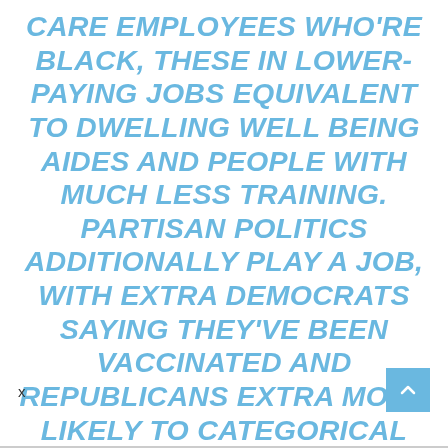CARE EMPLOYEES WHO'RE BLACK, THESE IN LOWER-PAYING JOBS EQUIVALENT TO DWELLING WELL BEING AIDES AND PEOPLE WITH MUCH LESS TRAINING. PARTISAN POLITICS ADDITIONALLY PLAY A JOB, WITH EXTRA DEMOCRATS SAYING THEY'VE BEEN VACCINATED AND REPUBLICANS EXTRA MORE LIKELY TO CATEGORICAL UNCERTAINTY OR ISSUES IN REGARDS TO THE VACCINES.
x